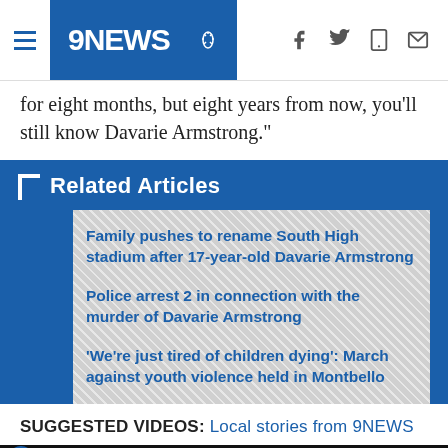9NEWS
for eight months, but eight years from now, you'll still know Davarie Armstrong."
Related Articles
Family pushes to rename South High stadium after 17-year-old Davarie Armstrong
Police arrest 2 in connection with the murder of Davarie Armstrong
'We're just tired of children dying': March against youth violence held in Montbello
SUGGESTED VIDEOS: Local stories from 9NEWS